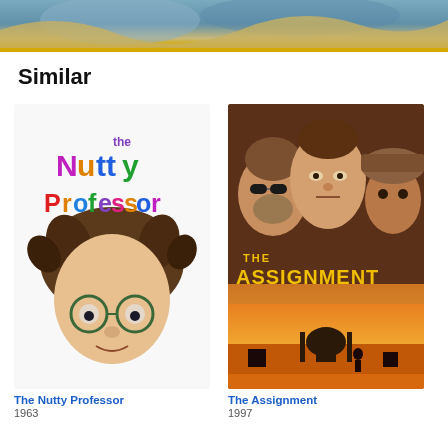[Figure (photo): Top banner showing partial movie poster image with blue/teal tones and a golden yellow bar at the bottom]
Similar
[Figure (photo): Movie poster for The Nutty Professor (1963) - colorful text on white background with cartoon-style lettering and person with wild hair and glasses]
The Nutty Professor
1963
[Figure (photo): Movie poster for The Assignment (1997) - dark thriller poster with three men's faces and dramatic orange/red background with Middle Eastern cityscape silhouette]
The Assignment
1997